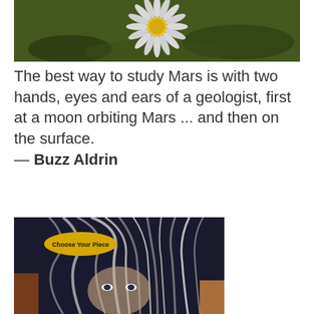[Figure (photo): Close-up photograph of a white daisy flower with yellow center against a dark green background]
The best way to study Mars is with two hands, eyes and ears of a geologist, first at a moon orbiting Mars ... and then on the surface.
— Buzz Aldrin
[Figure (illustration): Illustrated artwork showing a figure with wild flowing grey hair and intense eyes, with a yellow oval badge reading 'Choose Your Piece']